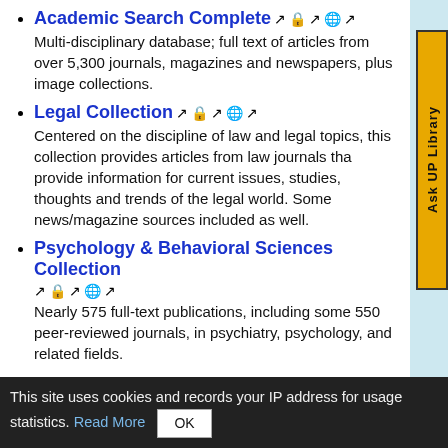Academic Search Complete — Multi-disciplinary database; full text of articles from over 5,300 journals, magazines and newspapers, plus image collections.
Legal Collection — Centered on the discipline of law and legal topics, this collection provides articles from law journals that provide information for current issues, studies, thoughts and trends of the legal world. Some news/magazine sources included as well.
Psychology & Behavioral Sciences Collection — Nearly 575 full-text publications, including some 550 peer-reviewed journals, in psychiatry, psychology, and related fields.
This site uses cookies and records your IP address for usage statistics. Read More OK